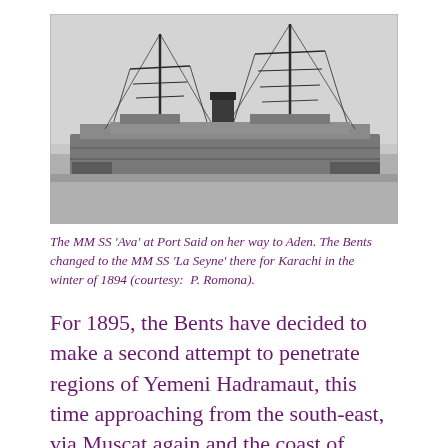[Figure (photo): Black and white photograph of the MM SS 'Ava' steamship at Port Said, showing two tall masts and a smokestack, viewed from the side at dock.]
The MM SS 'Ava' at Port Said on her way to Aden. The Bents changed to the MM SS 'La Seyne' there for Karachi in the winter of 1894 (courtesy:  P. Romona).
For 1895, the Bents have decided to make a second attempt to penetrate regions of Yemeni Hadramaut, this time approaching from the south-east, via Muscat again and the coast of modern Oman. Their first trek into the Wadi